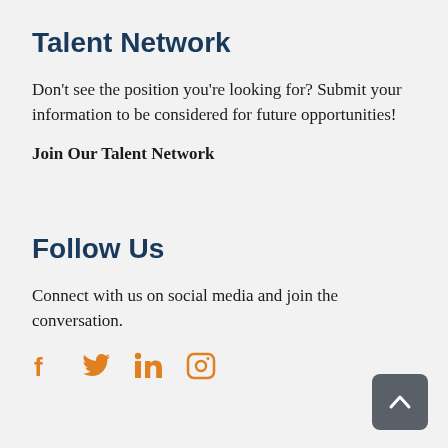Talent Network
Don’t see the position you’re looking for? Submit your information to be considered for future opportunities!
Join Our Talent Network
Follow Us
Connect with us on social media and join the conversation.
[Figure (infographic): Social media icons: Facebook, Twitter, LinkedIn, Instagram in orange color]
[Figure (other): Back to top button with upward arrow chevron on dark gray rounded square background]